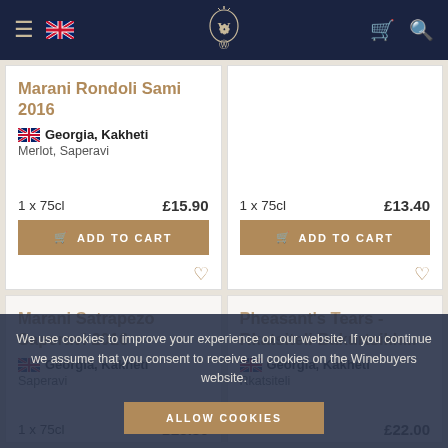Winebuyers navigation bar
Marani Rondoli Sami 2016 | Georgia, Kakheti | Merlot, Saperavi | 1 x 75cl £15.90
1 x 75cl £13.40
ADD TO CART
ADD TO CART
Marani Satrapezo Saperavi 2016 | Georgia, Kakheti | Saperavi | 1 x 75cl £25.80
Pheasant's Tears - Rkatsiteli Bakurtsikh... | Georgia, Kakheti | Rkatsiteli | 1 x 75cl £22.00
We use cookies to improve your experience on our website. If you continue we assume that you consent to receive all cookies on the Winebuyers website.
ALLOW COOKIES